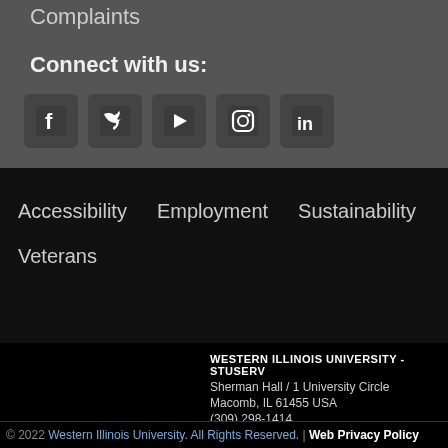Complaints
Connect with us:
[Figure (other): Social media icons: Facebook, Twitter, YouTube, Instagram, LinkedIn]
Accessibility
Employment
Sustainability
Veterans
WESTERN ILLINOIS UNIVERSITY - STUSERV
Sherman Hall / 1 University Circle
Macomb, IL 61455 USA
(309) 298-1414
© 2022 Western Illinois University. All Rights Reserved. | Web Privacy Policy